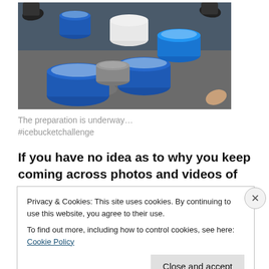[Figure (photo): Overhead view of several blue, white, and grey buckets filled with ice water on a concrete floor, with people's feet/shoes visible at the edges.]
The preparation is underway…
#icebucketchallenge
If you have no idea as to why you keep coming across photos and videos of people on facebook, instagram, twitter and other social media platforms, then read it i…
Privacy & Cookies: This site uses cookies. By continuing to use this website, you agree to their use.
To find out more, including how to control cookies, see here: Cookie Policy
Close and accept